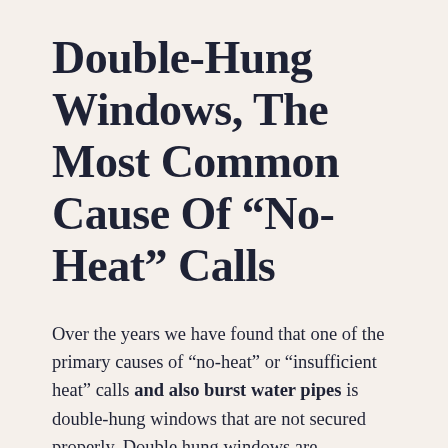Double-Hung Windows, The Most Common Cause Of “No-Heat” Calls
Over the years we have found that one of the primary causes of “no-heat” or “insufficient heat” calls and also burst water pipes is double-hung windows that are not secured properly. Double hung windows are